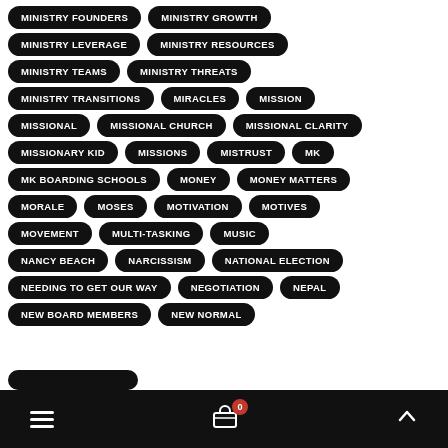MINISTRY FOUNDERS
MINISTRY GROWTH
MINISTRY LEVERAGE
MINISTRY RESOURCES
MINISTRY TEAMS
MINISTRY THREATS
MINISTRY TRANSITIONS
MIRACLES
MISSION
MISSIONAL
MISSIONAL CHURCH
MISSIONAL CLARITY
MISSIONARY KID
MISSIONS
MISTRUST
MK
MK BOARDING SCHOOLS
MONEY
MONEY MATTERS
MORALE
MOSES
MOTIVATION
MOTIVES
MOVEMENT
MULTI-TASKING
MUSIC
NANCY BEACH
NARCISSISM
NATIONAL ELECTION
NEEDING TO GET OUR WAY
NEGOTIATION
NEPAL
NEW BOARD MEMBERS
NEW NORMAL
≡  🛒 0  ▲